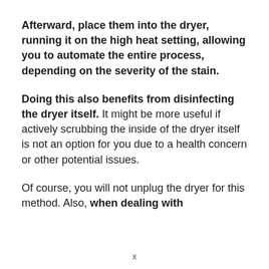Afterward, place them into the dryer, running it on the high heat setting, allowing you to automate the entire process, depending on the severity of the stain.
Doing this also benefits from disinfecting the dryer itself. It might be more useful if actively scrubbing the inside of the dryer itself is not an option for you due to a health concern or other potential issues.
Of course, you will not unplug the dryer for this method. Also, when dealing with
x